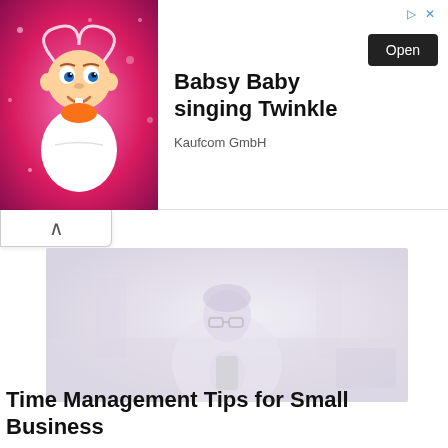[Figure (screenshot): Advertisement banner for 'Babsy Baby singing Twinkle' app by Kaufcom GmbH, with cartoon baby image on pink background, Open button, and ad icons]
[Figure (photo): Faded/washed-out photo of a woman with glasses sitting at a desk, looking at a phone, in a bright office environment]
Time Management Tips for Small Business